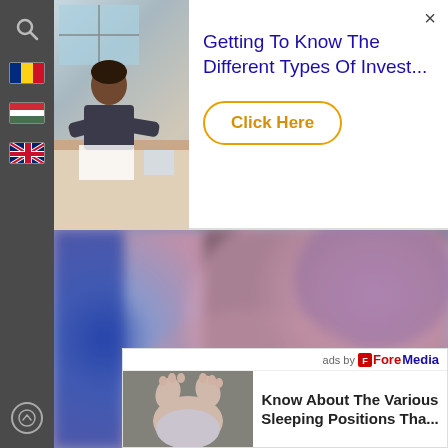[Figure (screenshot): Web page screenshot showing a sidebar navigation with search icon, Romanian, Hungarian, and UK flags, and a scroll-to-top button. An advertisement banner at top shows a person working at a desk with text 'Getting To Know The Different Types Of Invest...' and a 'Click Here' button. The background is a blurred pink/purple abstract image. A bottom ad card shows 'ads by ForeMedia' with a baby photo and text 'Know About The Various Sleeping Positions Tha...']